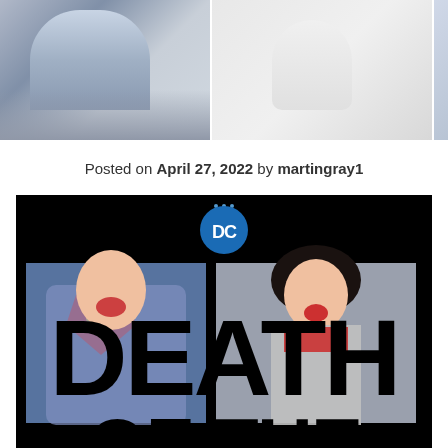[Figure (photo): Three cropped images at top of page showing partial views of comic book characters or figures against light backgrounds]
Posted on April 27, 2022 by martingray1
[Figure (illustration): DC Comics book cover for 'Death of the...' featuring Superman and Wonder Woman in action poses with dramatic comic art behind large black 'DEATH' lettering, DC logo at top center on black background]